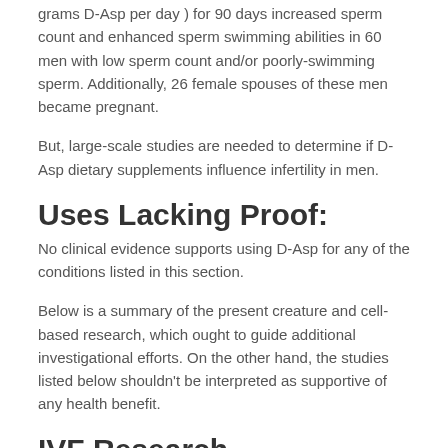grams D-Asp per day ) for 90 days increased sperm count and enhanced sperm swimming abilities in 60 men with low sperm count and/or poorly-swimming sperm. Additionally, 26 female spouses of these men became pregnant.
But, large-scale studies are needed to determine if D-Asp dietary supplements influence infertility in men.
Uses Lacking Proof:
No clinical evidence supports using D-Asp for any of the conditions listed in this section.
Below is a summary of the present creature and cell-based research, which ought to guide additional investigational efforts. On the other hand, the studies listed below shouldn't be interpreted as supportive of any health benefit.
IVF Research
In-vitro fertilization (IVF) clinics seek new, more efficient and reliable techniques to determine and increase the quality of egg cells in potential mothers. Such methods decrease the number of fertilized embryos required for a successful pregnancy. They also